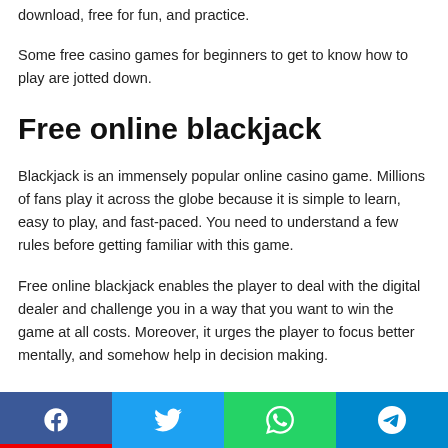download, free for fun, and practice.
Some free casino games for beginners to get to know how to play are jotted down.
Free online blackjack
Blackjack is an immensely popular online casino game. Millions of fans play it across the globe because it is simple to learn, easy to play, and fast-paced. You need to understand a few rules before getting familiar with this game.
Free online blackjack enables the player to deal with the digital dealer and challenge you in a way that you want to win the game at all costs. Moreover, it urges the player to focus better mentally, and somehow help in decision making.
Social share buttons: Facebook, Twitter, WhatsApp, Telegram